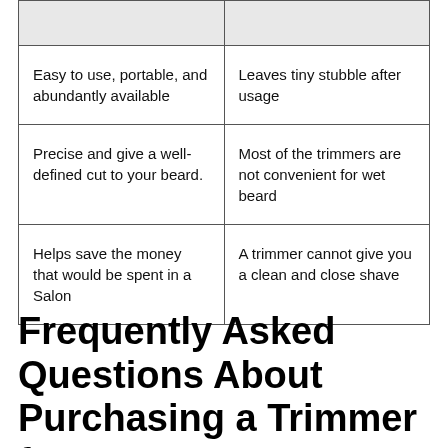|  |  |
| --- | --- |
| Easy to use, portable, and abundantly available | Leaves tiny stubble after usage |
| Precise and give a well-defined cut to your beard. | Most of the trimmers are not convenient for wet beard |
| Helps save the money that would be spent in a Salon | A trimmer cannot give you a clean and close shave |
Frequently Asked Questions About Purchasing a Trimmer for men